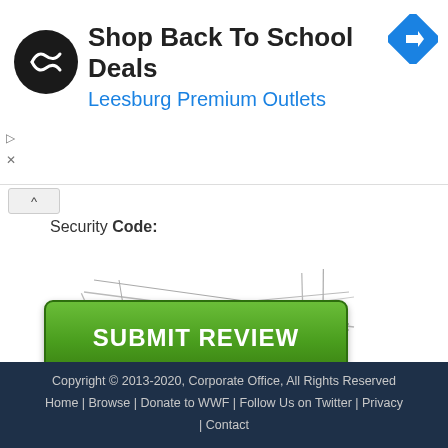[Figure (infographic): Advertisement banner: black circular logo with infinity-like symbol, text 'Shop Back To School Deals' in bold black, 'Leesburg Premium Outlets' in blue, and a blue diamond navigation icon on the right.]
Security Code:
[Figure (infographic): CAPTCHA image showing distorted text 'Cd8GA7' with strikethrough lines and noise over a white background.]
[ Try a different image ]
SUBMIT REVIEW
Copyright © 2013-2020, Corporate Office, All Rights Reserved
Home | Browse | Donate to WWF | Follow Us on Twitter | Privacy | Contact